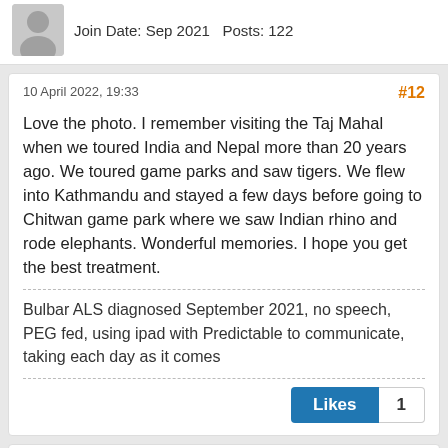Join Date: Sep 2021   Posts: 122
10 April 2022, 19:33
#12
Love the photo. I remember visiting the Taj Mahal when we toured India and Nepal more than 20 years ago. We toured game parks and saw tigers. We flew into Kathmandu and stayed a few days before going to Chitwan game park where we saw Indian rhino and rode elephants. Wonderful memories. I hope you get the best treatment.
Bulbar ALS diagnosed September 2021, no speech, PEG fed, using ipad with Predictable to communicate, taking each day as it comes
Likes 1
TinyLady
Forum Member
Join Date: Dec 2021   Posts: 646